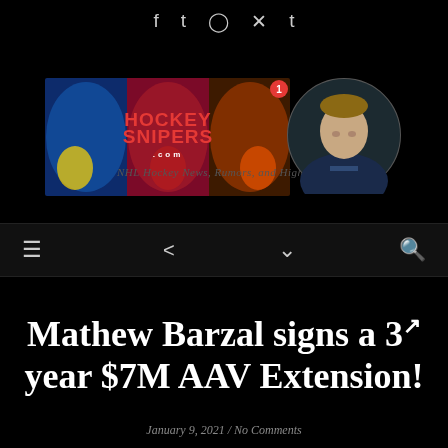f  t  instagram  pinterest  tumblr
[Figure (logo): Hockey Snipers website banner with NHL player action shots collage and red HOCKEY SNIPERS text overlay]
[Figure (photo): Circular profile photo of a hockey player wearing a dark jersey, light complexion, short hair]
NHL Hockey News, Rumors, and Highlights
hamburger menu | share | chevron dropdown | search
Mathew Barzal signs a 3 year $7M AAV Extension!
January 9, 2021 / No Comments